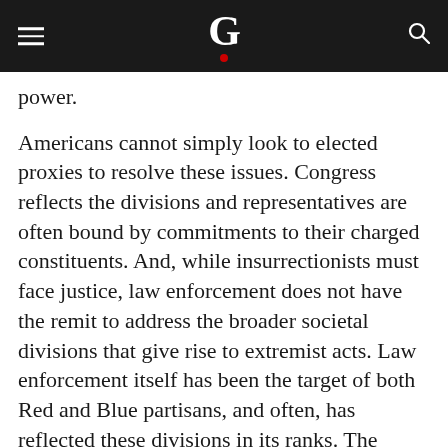G
power.
Americans cannot simply look to elected proxies to resolve these issues. Congress reflects the divisions and representatives are often bound by commitments to their charged constituents. And, while insurrectionists must face justice, law enforcement does not have the remit to address the broader societal divisions that give rise to extremist acts. Law enforcement itself has been the target of both Red and Blue partisans, and often, has reflected these divisions in its ranks. The country is also built on local solutions and on the strength of local communities and local